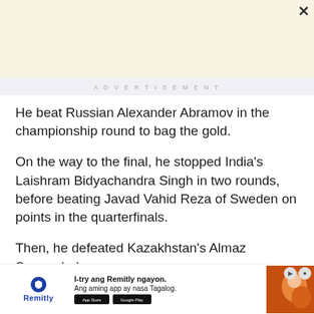[Figure (other): Top advertisement banner area with cream/beige background]
ADVERTISEMENT
He beat Russian Alexander Abramov in the championship round to bag the gold.
On the way to the final, he stopped India's Laishram Bidyachandra Singh in two rounds, before beating Javad Vahid Reza of Sweden on points in the quarterfinals.
Then, he defeated Kazakhstan's Almaz Sarsembekov in a tight semifinal contest to arrange the final duel
[Figure (other): Remitly advertisement banner at bottom: 'I-try ang Remitly ngayon. Ang aming app ay nasa Tagalog.' with Remitly logo and app store buttons]